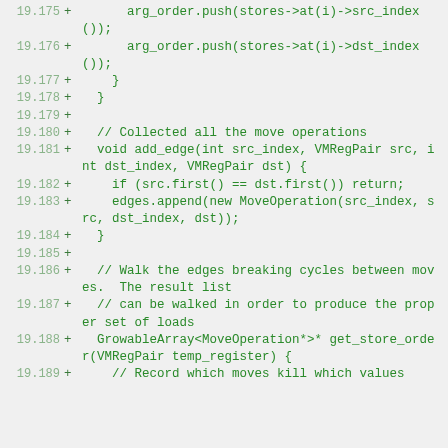[Figure (screenshot): Code diff snippet showing lines 19.175 to 19.189 of a source file. Each line begins with a line number (e.g. 19.175), a plus sign indicating an addition, and green monospace code text. The code includes push operations, add_edge function definition, edge append, and get_store_order function signature with comments about collected move operations, walking edges breaking cycles, and recording which moves kill which values.]